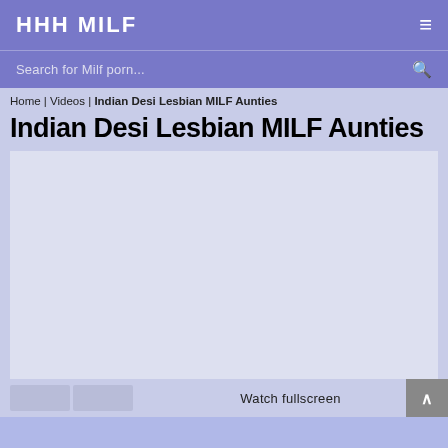HHH MILF
Search for Milf porn...
Home | Videos | Indian Desi Lesbian MILF Aunties
Indian Desi Lesbian MILF Aunties
[Figure (other): Embedded video player area, blank/loading state]
Watch fullscreen